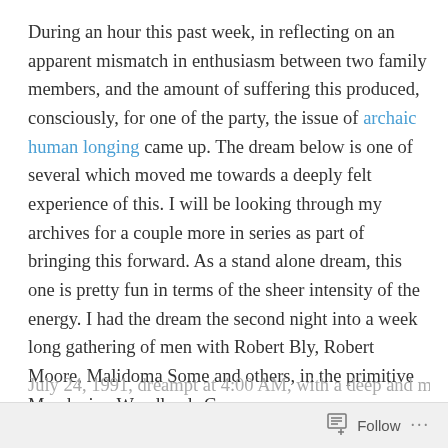During an hour this past week, in reflecting on an apparent mismatch in enthusiasm between two family members, and the amount of suffering this produced, consciously, for one of the party, the issue of archaic human longing came up. The dream below is one of several which moved me towards a deeply felt experience of this. I will be looking through my archives for a couple more in series as part of bringing this forward. As a stand alone dream, this one is pretty fun in terms of the sheer intensity of the energy. I had the dream the second night into a week long gathering of men with Robert Bly, Robert Moore, Malidoma Some and others, in the primitive Mendocino Woodlands Camp.
July 24, 1991, dreampt at 4:00 AM, with a deep and moving...